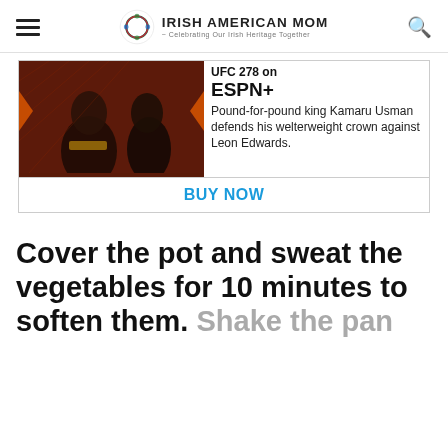Irish American Mom - Celebrating Our Irish Heritage Together
[Figure (photo): UFC 278 on ESPN+ advertisement showing two fighters face to face with a Buy Now button. Text: 'UFC 278 on ESPN+. Pound-for-pound king Kamaru Usman defends his welterweight crown against Leon Edwards.']
Cover the pot and sweat the vegetables for 10 minutes to soften them. Shake the pan